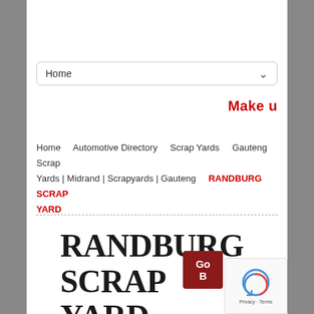[Figure (screenshot): Navigation dropdown select box showing 'Home' with a chevron arrow]
Make u
Home · Automotive Directory · Scrap Yards · Gauteng · Scrap Yards | Midrand | Scrapyards | Gauteng · RANDBURG SCRAP YARD
RANDBURG SCRAP YARD
[Figure (other): Go Back button (red/dark red) and reCAPTCHA widget with Privacy · Terms]